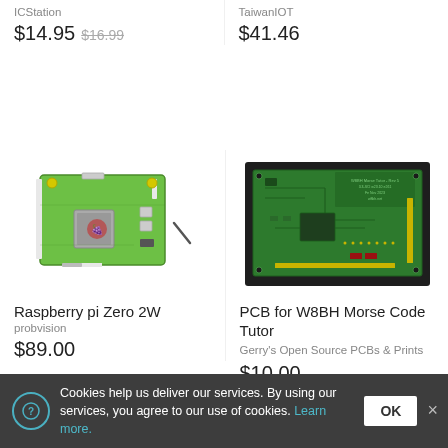ICStation
$14.95 $16.99
TaiwanIOT
$41.46
[Figure (photo): Raspberry Pi Zero 2W single-board computer with GPIO pins visible]
Raspberry pi Zero 2W
probvision
$89.00
[Figure (photo): Green PCB for W8BH Morse Code Tutor on dark background]
PCB for W8BH Morse Code Tutor
Gerry's Open Source PCBs & Prints
$10.00
Cookies help us deliver our services. By using our services, you agree to our use of cookies. Learn more.